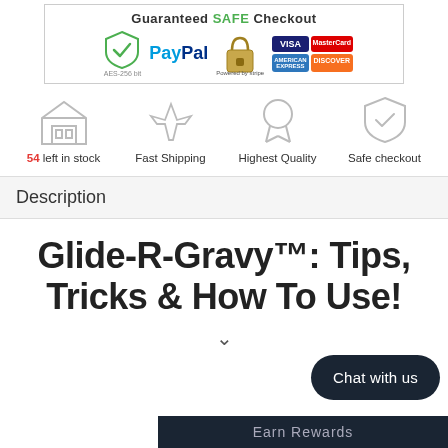[Figure (infographic): Guaranteed SAFE Checkout banner with PayPal, Stripe, Visa, MasterCard, American Express, and Discover payment icons]
[Figure (infographic): Four feature icons: warehouse (54 left in stock), airplane (Fast Shipping), ribbon (Highest Quality), shield (Safe checkout)]
Description
Glide-R-Gravy™: Tips, Tricks & How To Use!
Chat with us
Earn Rewards